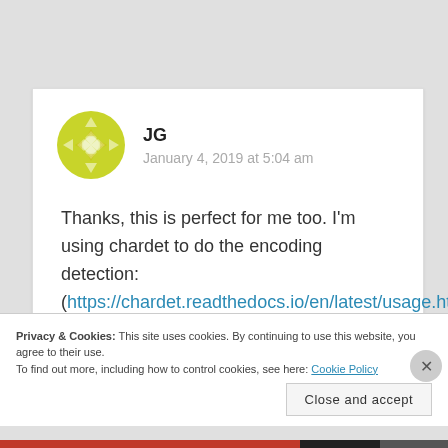JG
January 4, 2019 at 5:04 am
Thanks, this is perfect for me too. I'm using chardet to do the encoding detection: (https://chardet.readthedocs.io/en/latest/usage.html#basic-usage)
Privacy & Cookies: This site uses cookies. By continuing to use this website, you agree to their use.
To find out more, including how to control cookies, see here: Cookie Policy
Close and accept